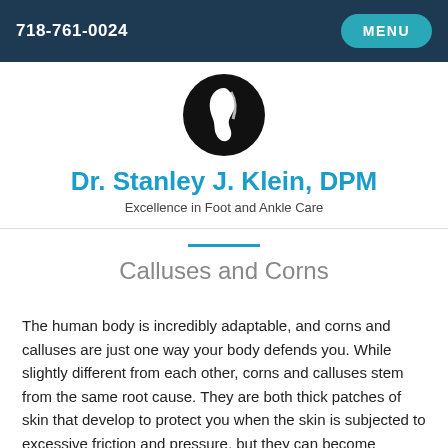718-761-0024   MENU
[Figure (logo): Circular foot/ankle logo for Dr. Stanley J. Klein DPM practice, black circle with white foot silhouette]
Dr. Stanley J. Klein, DPM
Excellence in Foot and Ankle Care
Calluses and Corns
The human body is incredibly adaptable, and corns and calluses are just one way your body defends you. While slightly different from each other, corns and calluses stem from the same root cause. They are both thick patches of skin that develop to protect you when the skin is subjected to excessive friction and pressure, but they can become problems themselves, particularly for diabetics or anyone